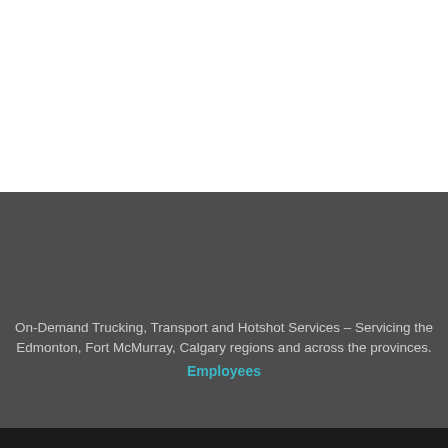[Figure (photo): Top half of page showing a white/light area (image region) above a dark gray background section]
On-Demand Trucking, Transport and Hotshot Services – Servicing the Edmonton, Fort McMurray, Calgary regions and across the provinces.
Employees